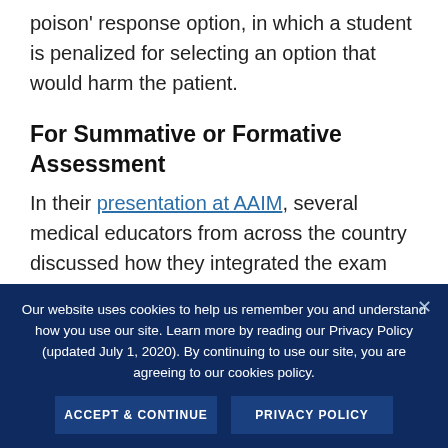poison' response option, in which a student is penalized for selecting an option that would harm the patient.
For Summative or Formative Assessment
In their presentation at AAIM, several medical educators from across the country discussed how they integrated the exam into an overall assessment program, and how they used it to achieve a more comprehensive picture of their
Our website uses cookies to help us remember you and understand how you use our site. Learn more by reading our Privacy Policy (updated July 1, 2020). By continuing to use our site, you are agreeing to our cookies policy.